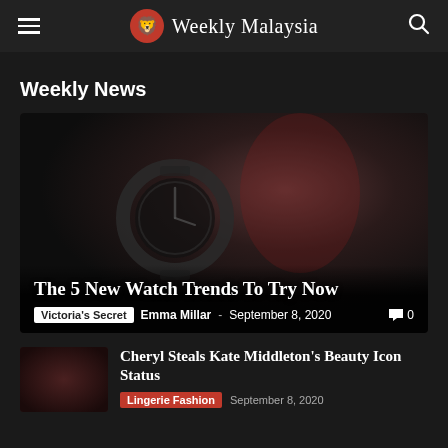Weekly Malaysia
Weekly News
[Figure (photo): Dark moody close-up photo of a watch face with red elements in the background]
The 5 New Watch Trends To Try Now
Victoria's Secret  Emma Millar - September 8, 2020  💬 0
Cheryl Steals Kate Middleton's Beauty Icon Status
Lingerie Fashion  September 8, 2020